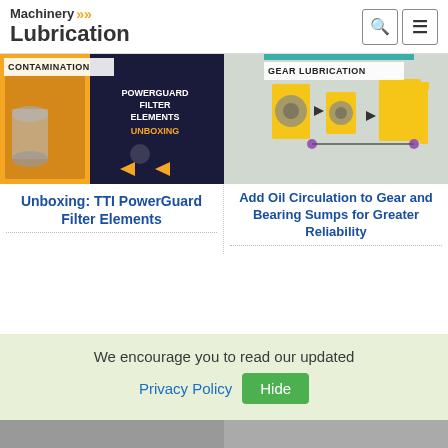Machinery Lubrication
[Figure (screenshot): Article thumbnail: CONTAMINATION tag with man holding filter elements, TTI PowerGuard Filter Elements Unboxing video thumbnail]
Unboxing: TTI PowerGuard Filter Elements
[Figure (screenshot): Article thumbnail: GEAR LUBRICATION tag with engineering diagram of gear and bearing sump system]
Add Oil Circulation to Gear and Bearing Sumps for Greater Reliability
We encourage you to read our updated Privacy Policy  Hide